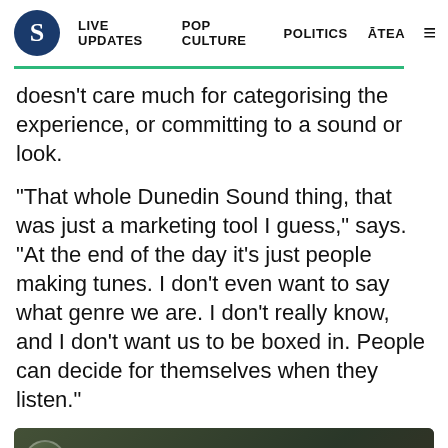S | LIVE UPDATES  POP CULTURE  POLITICS  ĀTEA  ☰
doesn't care much for categorising the experience, or committing to a sound or look.
“That whole Dunedin Sound thing, that was just a marketing tool I guess,” says. “At the end of the day it’s just people making tunes. I don’t even want to say what genre we are. I don’t really know, and I don’t want us to be boxed in. People can decide for themselves when they listen.”
[Figure (screenshot): YouTube video embed showing 'The Shambles - Winn Road Festiva...' with a crowd background, share button and play button]